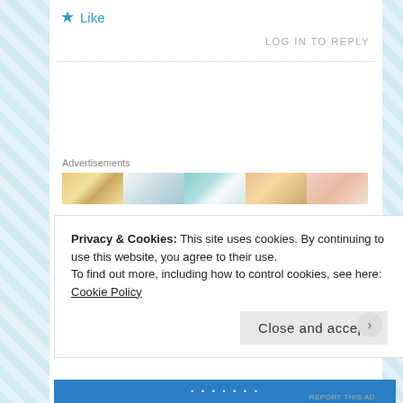★ Like
LOG IN TO REPLY
Advertisements
[Figure (illustration): Advertisement banner with colorful geometric pattern segments]
[Figure (illustration): Teal circular mandala-style avatar icon for user Courtney]
Courtney says: JULY 23, 2004 AT 3:07 PM
👍 0 👎 0 ℹ Rate This
Privacy & Cookies: This site uses cookies. By continuing to use this website, you agree to their use.
To find out more, including how to control cookies, see here: Cookie Policy
Close and accept